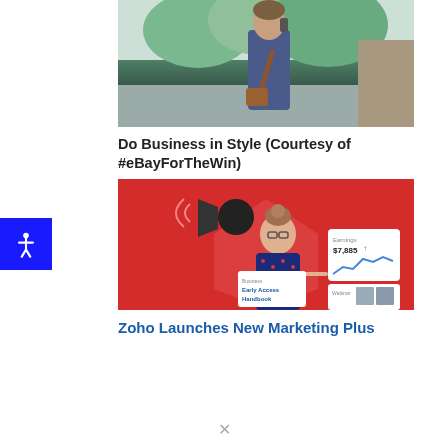[Figure (photo): Man in a navy blazer and grey shirt talking on a phone outdoors, carrying a bag, with trees in the background]
Do Business in Style (Courtesy of #eBayForTheWin)
[Figure (photo): Marketing promotional image on red background showing a woman with glasses and a bun hairstyle holding a megaphone, with UI elements showing earnings and Early Access Handbook overlay]
Zoho Launches New Marketing Plus